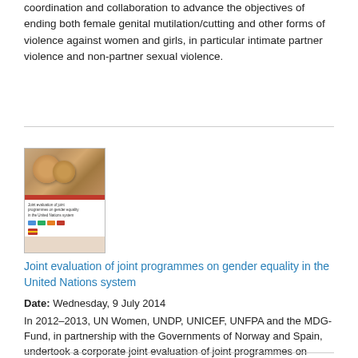coordination and collaboration to advance the objectives of ending both female genital mutilation/cutting and other forms of violence against women and girls, in particular intimate partner violence and non-partner sexual violence.
[Figure (photo): Book cover image for a joint evaluation of joint programmes on gender equality in the United Nations system, showing hands in a circle at the top, a red banner, text title, and organizational logos including UN Women, UNDP, UNICEF, UNFPA and a Spanish flag emblem at bottom.]
Joint evaluation of joint programmes on gender equality in the United Nations system
Date: Wednesday, 9 July 2014
In 2012–2013, UN Women, UNDP, UNICEF, UNFPA and the MDG-Fund, in partnership with the Governments of Norway and Spain, undertook a corporate joint evaluation of joint programmes on gender equality in the United Nations system to address a gap in evidence on country-level joint gender programmes (JGPs).